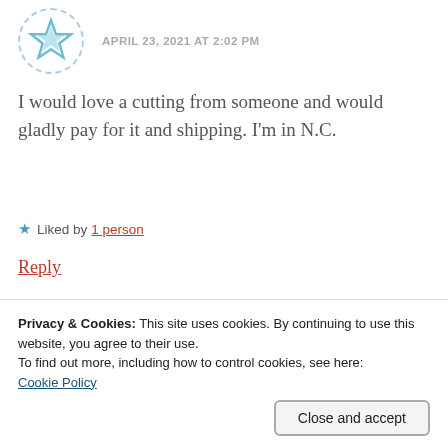APRIL 23, 2021 AT 2:02 PM
I would love a cutting from someone and would gladly pay for it and shipping. I'm in N.C.
★ Liked by 1 person
Reply
Robin at Haphazard
Homemaker
Privacy & Cookies: This site uses cookies. By continuing to use this website, you agree to their use.
To find out more, including how to control cookies, see here:
Cookie Policy
Close and accept